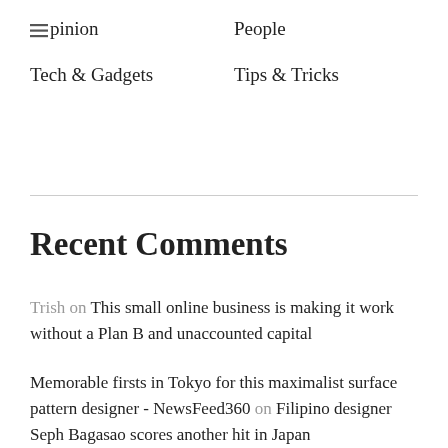Opinion
People
Tech & Gadgets
Tips & Tricks
Recent Comments
Trish on This small online business is making it work without a Plan B and unaccounted capital
Memorable firsts in Tokyo for this maximalist surface pattern designer - NewsFeed360 on Filipino designer Seph Bagasao scores another hit in Japan
Memorable firsts in Tokyo for this maximalist surface pattern designer - NewsFeed360 on Filipino fashion brand HA.MU's free spirit catches Japan's eye